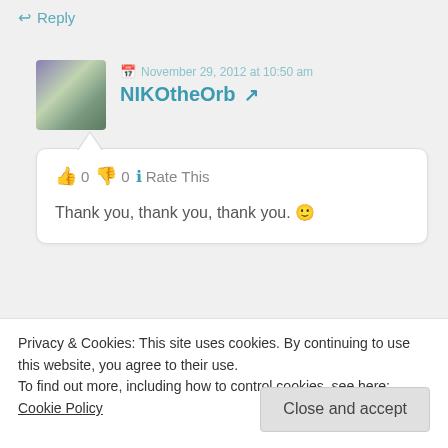↩ Reply
November 29, 2012 at 10:50 am
NIKOtheOrb ↗
👍 0 👎 0 ℹ Rate This
Thank you, thank you, thank you. 🙂
↩ Reply
Privacy & Cookies: This site uses cookies. By continuing to use this website, you agree to their use.
To find out more, including how to control cookies, see here: Cookie Policy
Close and accept